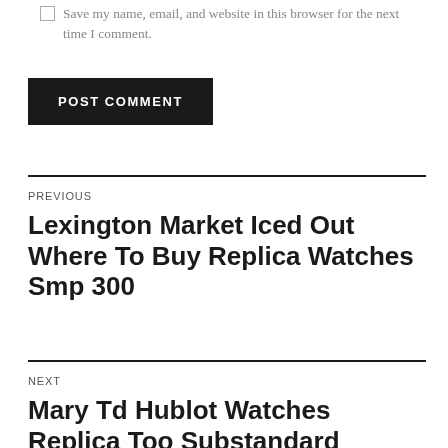Save my name, email, and website in this browser for the next time I comment.
POST COMMENT
PREVIOUS
Lexington Market Iced Out Where To Buy Replica Watches Smp 300
NEXT
Mary Td Hublot Watches Replica Too Substandard...